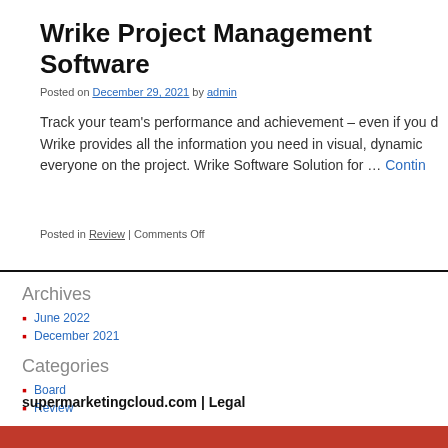Wrike Project Management Software
Posted on December 29, 2021 by admin
Track your team’s performance and achievement – even if you d Wrike provides all the information you need in visual, dynamic everyone on the project. Wrike Software Solution for … Contin
Posted in Review | Comments Off
Archives
June 2022
December 2021
Categories
Board
Review
supermarketingcloud.com  |  Legal